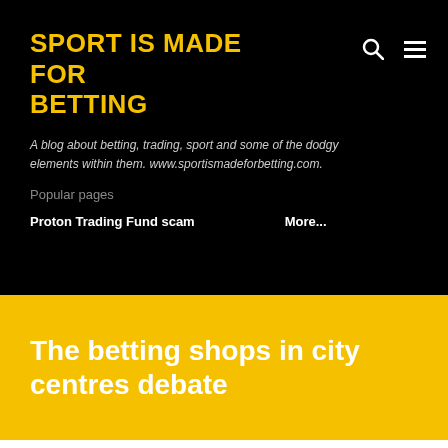SPORT IS MADE FOR BETTING
A blog about betting, trading, sport and some of the dodgy elements within them. www.sportismadeforbetting.com.
Popular pages
Proton Trading Fund scam
More...
The betting shops in city centres debate